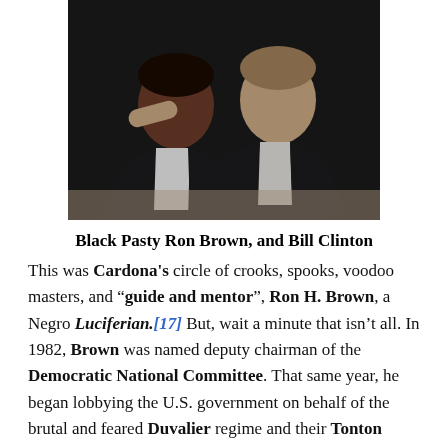[Figure (photo): Two men in dark suits and red ties posing together for a photo, dark background]
Black Pasty Ron Brown, and Bill Clinton
This was Cardona's circle of crooks, spooks, voodoo masters, and “guide and mentor”, Ron H. Brown, a Negro Luciferian.[17] But, wait a minute that isn’t all. In 1982, Brown was named deputy chairman of the Democratic National Committee. That same year, he began lobbying the U.S. government on behalf of the brutal and feared Duvalier regime and their Tonton Marcoute which was then in power in Haiti.